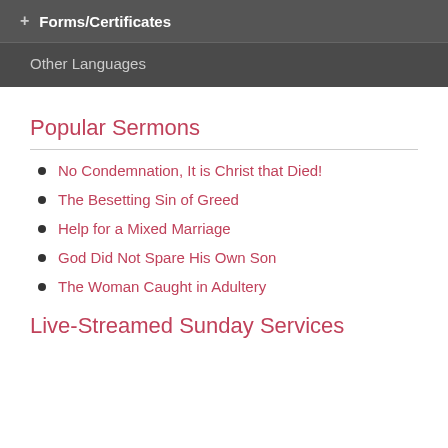+ Forms/Certificates
Other Languages
Popular Sermons
No Condemnation, It is Christ that Died!
The Besetting Sin of Greed
Help for a Mixed Marriage
God Did Not Spare His Own Son
The Woman Caught in Adultery
Live-Streamed Sunday Services